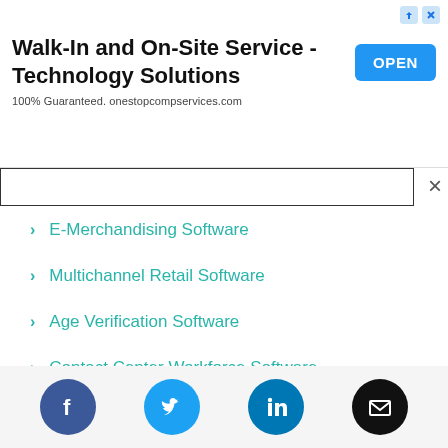[Figure (screenshot): Advertisement banner: Walk-In and On-Site Service - Technology Solutions. 100% Guaranteed. onestopcompservices.com with an OPEN button.]
E-Merchandising Software
Multichannel Retail Software
Age Verification Software
Contact Center Workforce Software
Conversational Support Software
Customer Education Software
[Figure (infographic): Social media icons footer: Facebook, Twitter, LinkedIn, Email]